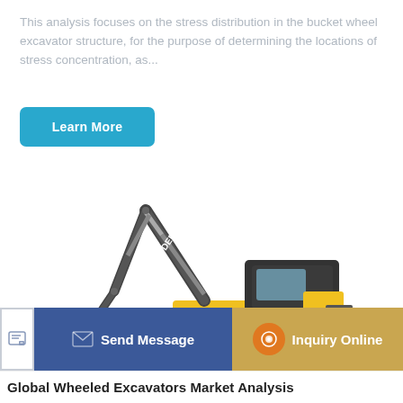This analysis focuses on the stress distribution in the bucket wheel excavator structure, for the purpose of determining the locations of stress concentration, as...
[Figure (photo): John Deere yellow and black tracked excavator on white background, showing boom, arm, bucket, cab, and undercarriage tracks.]
Send Message
Inquiry Online
Global Wheeled Excavators Market Analysis